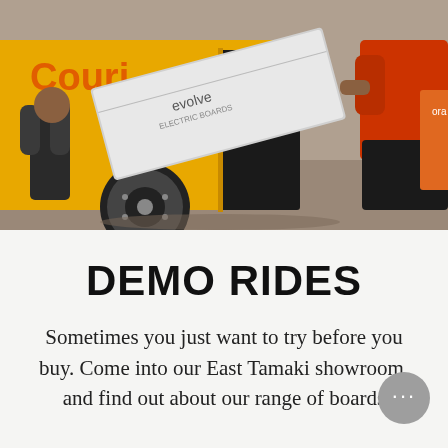[Figure (photo): Photo of people loading an Evolve electric skateboard box into a yellow courier/delivery van. One person in a red shirt is visible. An orange package is partially visible on the right.]
DEMO RIDES
Sometimes you just want to try before you buy. Come into our East Tamaki showroom, and find out about our range of boards